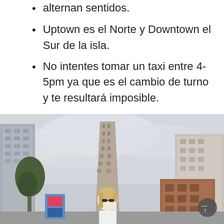alternan sentidos.
Uptown es el Norte y Downtown el Sur de la isla.
No intentes tomar un taxi entre 4-5pm ya que es el cambio de turno y te resultará imposible.
[Figure (photo): A woman with sunglasses looking up, standing in front of the Flatiron Building in New York City, with other skyscrapers visible on a cloudy day.]